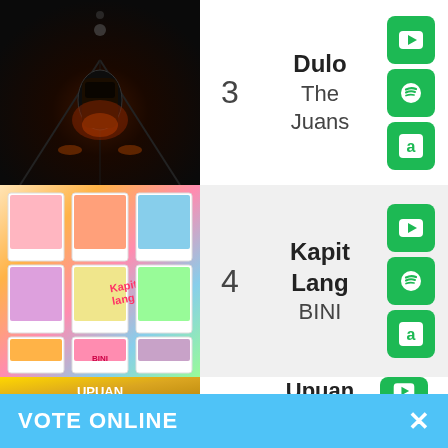[Figure (photo): Dark atmospheric album cover photo showing a car/vehicle scene at night, top-down view]
3
Dulo
The Juans
[Figure (logo): YouTube icon on green button]
[Figure (logo): Spotify icon on green button]
[Figure (logo): Amazon icon on green button]
[Figure (photo): Kapit Lang by BINI album cover showing 9 members in polaroid photo collage style with colorful background]
4
Kapit Lang
BINI
[Figure (logo): YouTube icon on green button]
[Figure (logo): Spotify icon on green button]
[Figure (logo): Amazon icon on green button]
[Figure (photo): Upuan album cover with golden/yellow decorative background and text UPUAN]
Upuan
[Figure (logo): YouTube icon on green button (partially visible)]
VOTE ONLINE ×